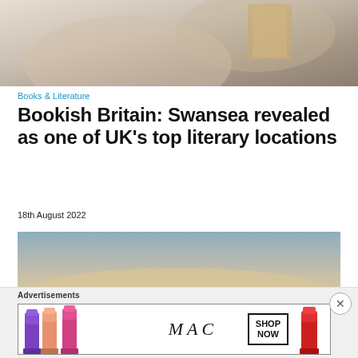[Figure (photo): Close-up photo of a person in a knit sweater holding a book, warm neutral tones]
Books & Literature
Bookish Britain: Swansea revealed as one of UK's top literary locations
18th August 2022
[Figure (photo): Landscape photo with gradient sky, horizon scene]
[Figure (photo): MAC cosmetics advertisement banner showing lipsticks with SHOP NOW call to action]